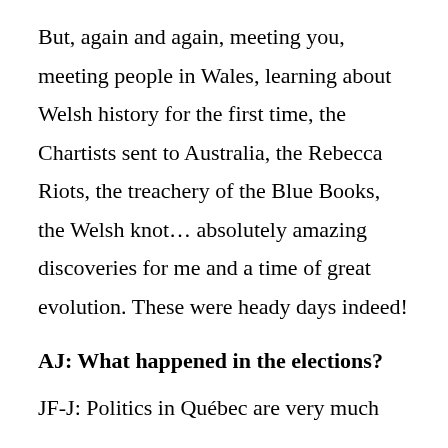But, again and again, meeting you, meeting people in Wales, learning about Welsh history for the first time, the Chartists sent to Australia, the Rebecca Riots, the treachery of the Blue Books, the Welsh knot… absolutely amazing discoveries for me and a time of great evolution. These were heady days indeed!
AJ: What happened in the elections?
JF-J: Politics in Québec are very much